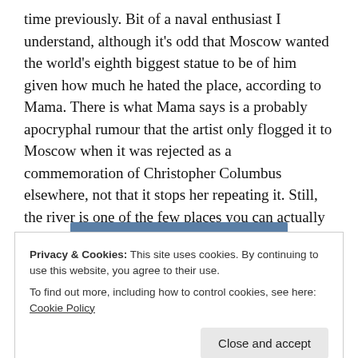time previously. Bit of a naval enthusiast I understand, although it's odd that Moscow wanted the world's eighth biggest statue to be of him given how much he hated the place, according to Mama. There is what Mama says is a probably apocryphal rumour that the artist only flogged it to Moscow when it was rejected as a commemoration of Christopher Columbus elsewhere, not that it stops her repeating it. Still, the river is one of the few places you can actually get a decent view, so snap away while you can.
[Figure (photo): Partial view of an image partially obscured by a cookie consent banner — top portion shows a blue/grey horizontal band]
Privacy & Cookies: This site uses cookies. By continuing to use this website, you agree to their use.
To find out more, including how to control cookies, see here: Cookie Policy
Close and accept
[Figure (photo): Bottom portion of an outdoor photograph visible beneath the cookie banner]